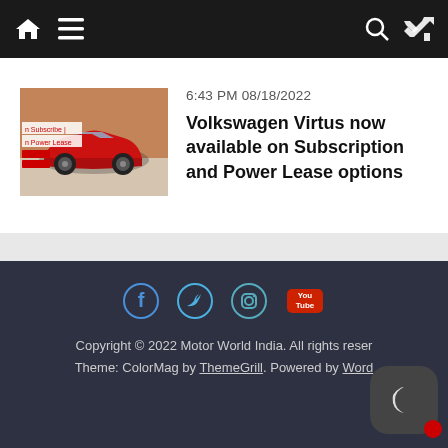Motor World India navigation bar with home, menu, search, and shuffle icons
6:43 PM 08/18/2022
Volkswagen Virtus now available on Subscription and Power Lease options
[Figure (photo): Thumbnail image of a red Volkswagen Virtus car with text 'Subscribe' and 'Power Lease' overlaid]
Copyright © 2022 Motor World India. All rights reserved. Theme: ColorMag by ThemeGrill. Powered by Word